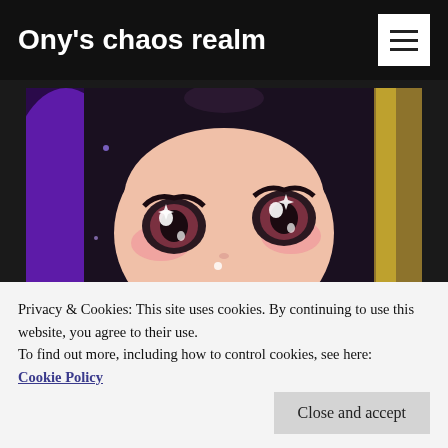Ony's chaos realm
[Figure (illustration): Anime-style close-up illustration of a girl with dark hair, large expressive eyes with sparkles, blushing cheeks, against a purple background]
CATEGORY: ELSWORD
All and everything related to the MMORPG
Privacy & Cookies: This site uses cookies. By continuing to use this website, you agree to their use.
To find out more, including how to control cookies, see here:
Cookie Policy
Close and accept